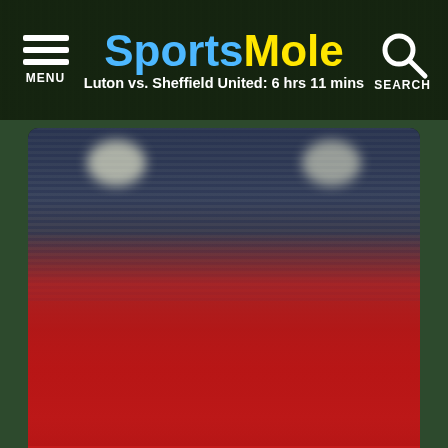SportsMole | Luton vs. Sheffield United: 6 hrs 11 mins
[Figure (photo): Football players in red Freiburg jerseys celebrating on a pitch with crowd in background]
Preview: Freiburg vs. RB Leipzig - prediction, team news, lineups